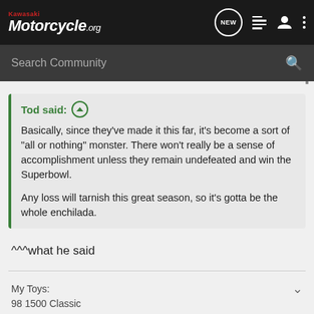Kawasaki Motorcycle.org
Search Community
Tod said: ↑
Basically, since they've made it this far, it's become a sort of "all or nothing" monster. There won't really be a sense of accomplishment unless they remain undefeated and win the Superbowl.

Any loss will tarnish this great season, so it's gotta be the whole enchilada.
^^^what he said
My Toys:
98 1500 Classic